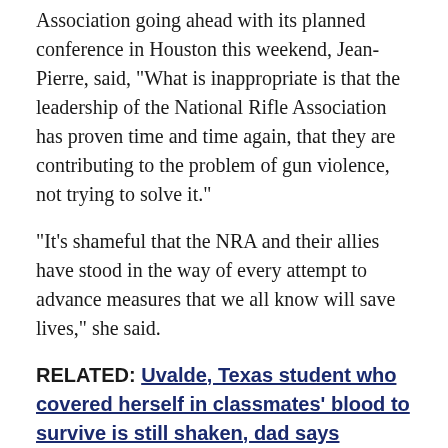Association going ahead with its planned conference in Houston this weekend, Jean-Pierre, said, "What is inappropriate is that the leadership of the National Rifle Association has proven time and time again, that they are contributing to the problem of gun violence, not trying to solve it."
"It's shameful that the NRA and their allies have stood in the way of every attempt to advance measures that we all know will save lives," she said.
RELATED: Uvalde, Texas student who covered herself in classmates' blood to survive is still shaken, dad says
Jean-Pierre echoed Biden, who in remarks Tuesday evening, spoke from personal experience about the